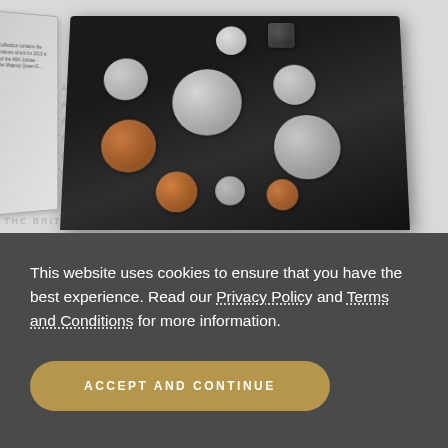[Figure (photo): A Royal Mint proof coin collection set displayed in an open black presentation case showing 8 coins of various sizes and metals (copper, silver-colored), with a certificate/booklet leaning on the left side. The background has repeating 'The Britannia Coin Company' watermark text in light gray.]
This website uses cookies to ensure that you have the best experience. Read our Privacy Policy and Terms and Conditions for more information.
ACCEPT AND CONTINUE